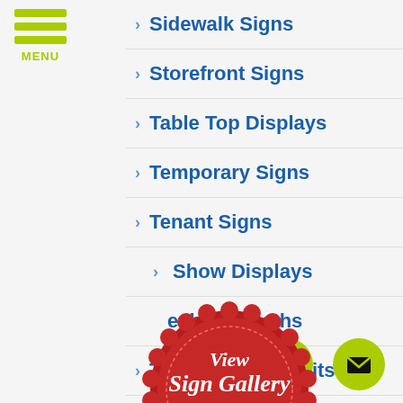[Figure (logo): Green hamburger menu icon with three horizontal bars and MENU text below]
Sidewalk Signs
Storefront Signs
Table Top Displays
Temporary Signs
Tenant Signs
Trade Show Displays
Tradeshow Booths
Tradeshow Exhibits
Trailer Wraps
[Figure (illustration): Red badge/seal with gold ribbon banner. Text reads 'View Sign Gallery CLICK HERE']
[Figure (illustration): Green circular phone button icon]
[Figure (illustration): Green circular email/envelope button icon]